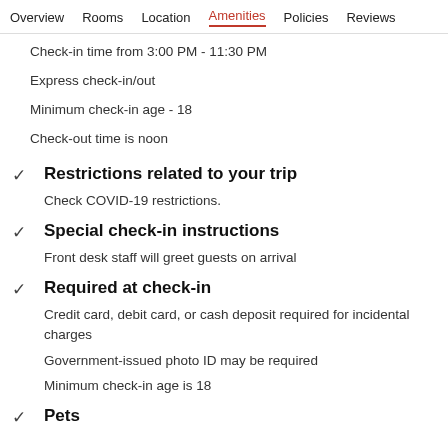Overview  Rooms  Location  Amenities  Policies  Reviews
Check-in time from 3:00 PM - 11:30 PM
Express check-in/out
Minimum check-in age - 18
Check-out time is noon
Restrictions related to your trip
Check COVID-19 restrictions.
Special check-in instructions
Front desk staff will greet guests on arrival
Required at check-in
Credit card, debit card, or cash deposit required for incidental charges
Government-issued photo ID may be required
Minimum check-in age is 18
Pets